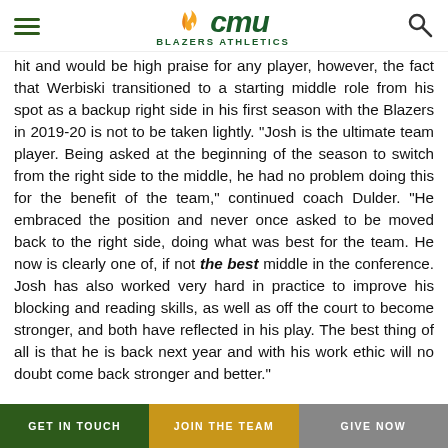CMU Blazers Athletics
hit and would be high praise for any player, however, the fact that Werbiski transitioned to a starting middle role from his spot as a backup right side in his first season with the Blazers in 2019-20 is not to be taken lightly. "Josh is the ultimate team player. Being asked at the beginning of the season to switch from the right side to the middle, he had no problem doing this for the benefit of the team," continued coach Dulder. "He embraced the position and never once asked to be moved back to the right side, doing what was best for the team. He now is clearly one of, if not the best middle in the conference. Josh has also worked very hard in practice to improve his blocking and reading skills, as well as off the court to become stronger, and both have reflected in his play. The best thing of all is that he is back next year and with his work ethic will no doubt come back stronger and better."
Fresh off the first ever appearance for CMU at a CCAA
GET IN TOUCH | JOIN THE TEAM | GIVE NOW